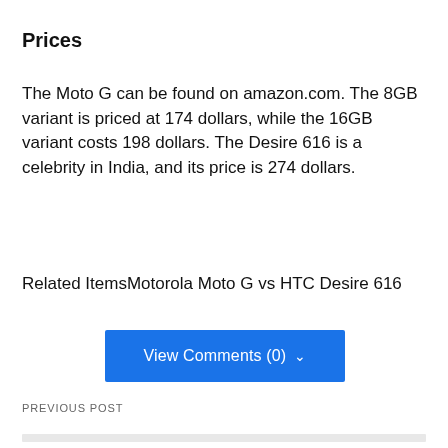Prices
The Moto G can be found on amazon.com. The 8GB variant is priced at 174 dollars, while the 16GB variant costs 198 dollars. The Desire 616 is a celebrity in India, and its price is 274 dollars.
Related ItemsMotorola Moto G vs HTC Desire 616
View Comments (0) ˅
PREVIOUS POST